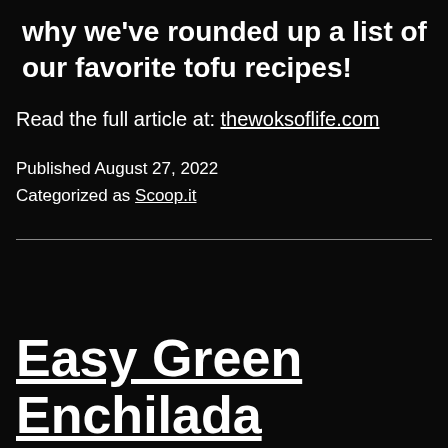why we've rounded up a list of our favorite tofu recipes!
Read the full article at: thewoksoflife.com
Published August 27, 2022
Categorized as Scoop.it
Easy Green Enchilada